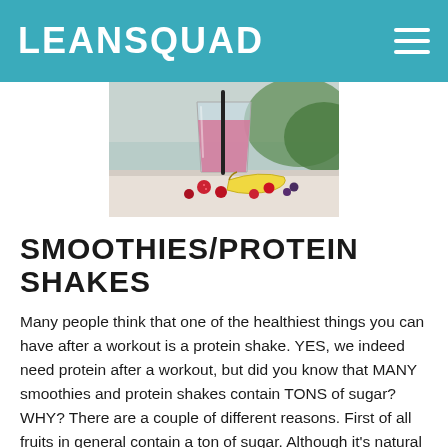LEANSQUAD
[Figure (photo): A glass of pink/purple smoothie with a black straw, sitting on a windowsill next to a banana and scattered berries (cranberries/raspberries and blueberries), with an outdoor view in the background.]
SMOOTHIES/PROTEIN SHAKES
Many people think that one of the healthiest things you can have after a workout is a protein shake. YES, we indeed need protein after a workout, but did you know that MANY smoothies and protein shakes contain TONS of sugar?   WHY? There are a couple of different reasons. First of all fruits in general contain a ton of sugar. Although it's natural sugar, too much sugar of any kind, not only contains no good for you. Typically, one thing and